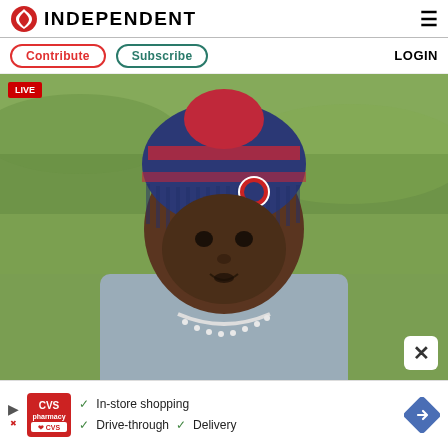INDEPENDENT
Contribute  Subscribe  LOGIN
[Figure (photo): A young Black male athlete wearing a navy blue and red knit beanie hat with a Houston Texans logo patch, a gray sleeveless shirt, and a pearl necklace, photographed outdoors with a blurred green grass background]
[Figure (other): CVS Pharmacy advertisement banner: In-store shopping, Drive-through, Delivery]